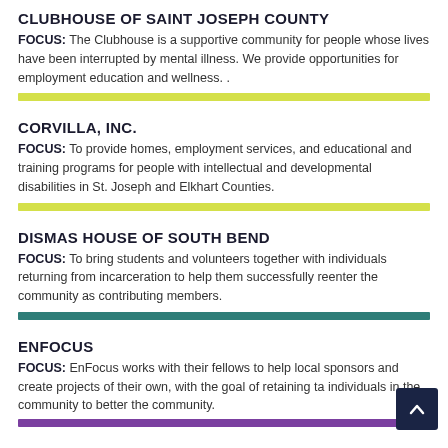CLUBHOUSE OF SAINT JOSEPH COUNTY
FOCUS: The Clubhouse is a supportive community for people whose lives have been interrupted by mental illness. We provide opportunities for employment education and wellness. .
CORVILLA, INC.
FOCUS: To provide homes, employment services, and educational and training programs for people with intellectual and developmental disabilities in St. Joseph and Elkhart Counties.
DISMAS HOUSE OF SOUTH BEND
FOCUS: To bring students and volunteers together with individuals returning from incarceration to help them successfully reenter the community as contributing members.
ENFOCUS
FOCUS: EnFocus works with their fellows to help local sponsors and create projects of their own, with the goal of retaining ta individuals in the community to better the community.